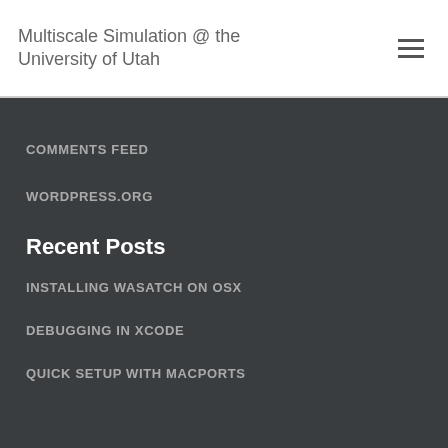Multiscale Simulation @ the University of Utah
COMMENTS FEED
WORDPRESS.ORG
Recent Posts
INSTALLING WASATCH ON OSX
DEBUGGING IN XCODE
QUICK SETUP WITH MACPORTS